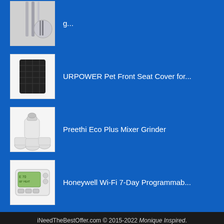[Figure (photo): Partial product image at top - metallic railing or pole product]
[Figure (photo): Black quilted pet front seat cover/mat product image]
URPOWER Pet Front Seat Cover for...
[Figure (photo): Preethi Eco Plus Mixer Grinder product image - white kitchen appliance]
Preethi Eco Plus Mixer Grinder
[Figure (photo): Honeywell Wi-Fi 7-Day Programmable thermostat product image]
Honeywell Wi-Fi 7-Day Programmab...
iNeedTheBestOffer.com © 2015-2022 Monique Inspired.